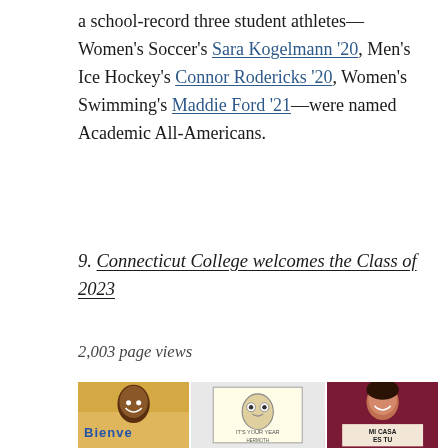a school-record three student athletes—Women's Soccer's Sara Kogelmann '20, Men's Ice Hockey's Connor Rodericks '20, Women's Swimming's Maddie Ford '21—were named Academic All-Americans.
9. Connecticut College welcomes the Class of 2023
2,003 page views
[Figure (photo): Photo strip showing students holding welcome signs including 'Bienve...', a drawing sign, and a 'Mi Casa Es Tu' sign]